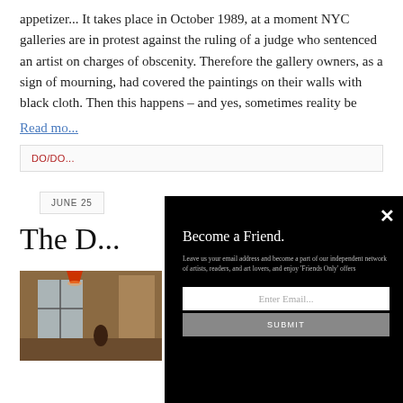appetizer... It takes place in October 1989, at a moment NYC galleries are in protest against the ruling of a judge who sentenced an artist on charges of obscenity. Therefore the gallery owners, as a sign of mourning, had covered the paintings on their walls with black cloth. Then this happens – and yes, sometimes reality be
Read mo...
DO/DO...
JUNE 25...
The D...
[Figure (photo): Interior photograph showing a room with windows, warm lighting, and a figure with reddish overhead decoration]
She's about to take a shower, he's sitting by the window, looking out over the garden. He hears thumping noises, produced by the installing of
[Figure (screenshot): Modal popup overlay with black background containing: title 'Become a Friend.', description text about joining an independent network of artists, readers, and art lovers for Friends Only offers, an email input field, and a SUBMIT button]